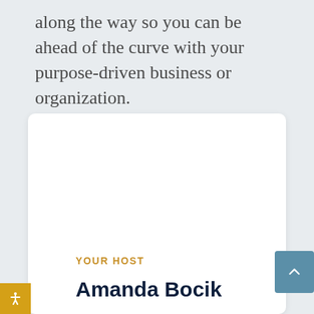along the way so you can be ahead of the curve with your purpose-driven business or organization.
[Figure (other): White card/panel area with host information section at bottom showing 'YOUR HOST' label in gold and 'Amanda Bocik' in dark navy bold text. A blue scroll-to-top button is visible at bottom right.]
YOUR HOST
Amanda Bocik